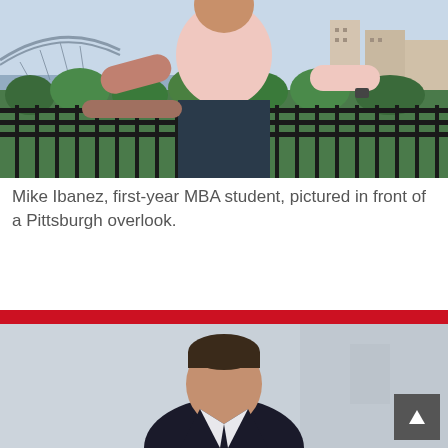[Figure (photo): Mike Ibanez, first-year MBA student, wearing a pink shirt, standing in front of a railing with a Pittsburgh city overlook and river bridge in the background, green trees visible below.]
Mike Ibanez, first-year MBA student, pictured in front of a Pittsburgh overlook.
[Figure (photo): A second person (headshot, male, dark hair, wearing dark suit) photographed in front of a blurred interior background. A dark gray scroll-to-top button with a triangle/arrow icon is overlaid in the bottom-right corner.]